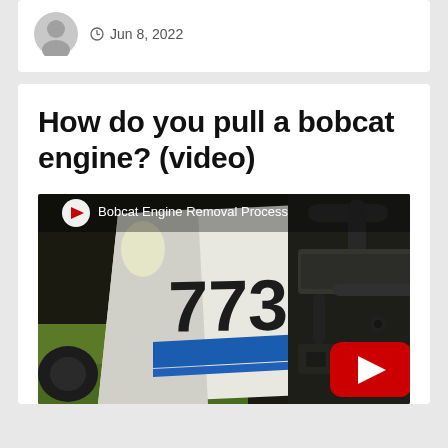Jun 8, 2022
How do you pull a bobcat engine? (video)
[Figure (screenshot): YouTube video thumbnail showing a Bobcat 773 skid steer loader engine removal process. Left side shows the white Bobcat 773 body panel with blue stripes, right side shows the engine compartment. Text overlay reads 'Bobcat Engine Removal Process'. YouTube play button visible in lower right.]